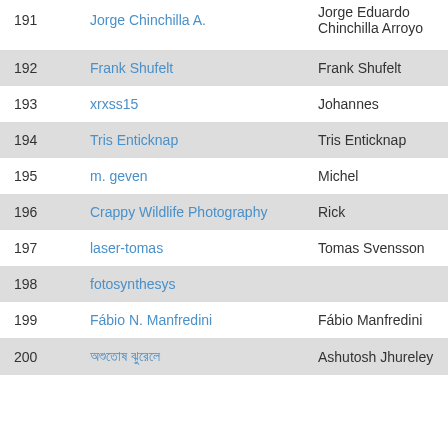| # | Username | Real Name |
| --- | --- | --- |
| 191 | Jorge Chinchilla A. | Jorge Eduardo Chinchilla Arroyo |
| 192 | Frank Shufelt | Frank Shufelt |
| 193 | xrxss15 | Johannes |
| 194 | Tris Enticknap | Tris Enticknap |
| 195 | m. geven | Michel |
| 196 | Crappy Wildlife Photography | Rick |
| 197 | laser-tomas | Tomas Svensson |
| 198 | fotosynthesys |  |
| 199 | Fábio N. Manfredini | Fábio Manfredini |
| 200 | অশুতোষ ঝুরেলে | Ashutosh Jhureley |